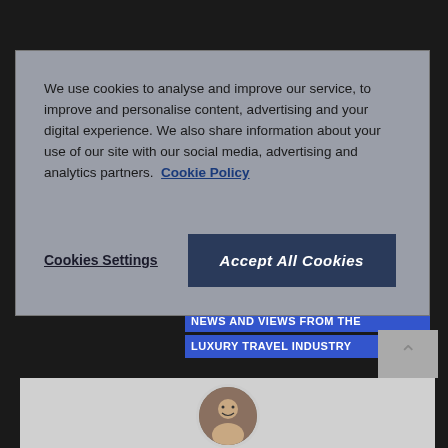[Figure (screenshot): Website background showing black backdrop with blue banner text 'NEWS AND VIEWS FROM THE LUXURY TRAVEL INDUSTRY' and a profile card with circular avatar photo at bottom]
We use cookies to analyse and improve our service, to improve and personalise content, advertising and your digital experience. We also share information about your use of our site with our social media, advertising and analytics partners. Cookie Policy
Cookies Settings
Accept All Cookies